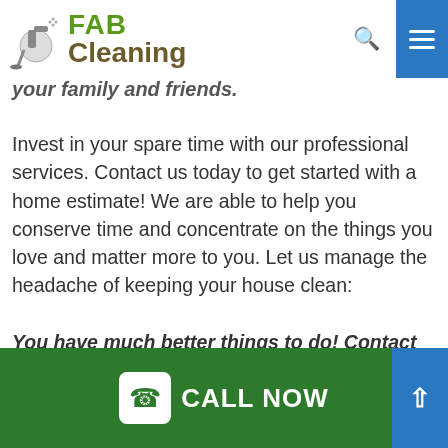[Figure (logo): FAB Cleaning logo with cleaning spray bottle icon, FAB in green bold text and Cleaning in brown bold text]
your family and friends.
Invest in your spare time with our professional services. Contact us today to get started with a home estimate! We are able to help you conserve time and concentrate on the things you love and matter more to you. Let us manage the headache of keeping your house clean:
You have much better things to do! Contact House Cleaning Melbourne right now!
[Figure (infographic): Green footer bar with white phone icon box and CALL NOW text in white, plus a blue scroll-to-top button on the right with an upward arrow]